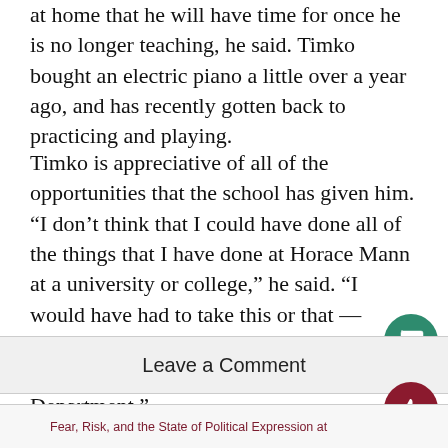at home that he will have time for once he is no longer teaching, he said. Timko bought an electric piano a little over a year ago, and has recently gotten back to practicing and playing.
Timko is appreciative of all of the opportunities that the school has given him. “I don’t think that I could have done all of the things that I have done at Horace Mann at a university or college,” he said. “I would have had to take this or that — whereas this way, I was able to work both in the Science Department and the Arts Department.”
Leave a Comment
Fear, Risk, and the State of Political Expression at